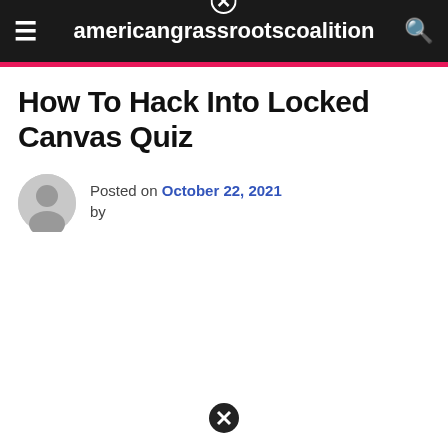americangrassrootscoalition
How To Hack Into Locked Canvas Quiz
Posted on October 22, 2021 by